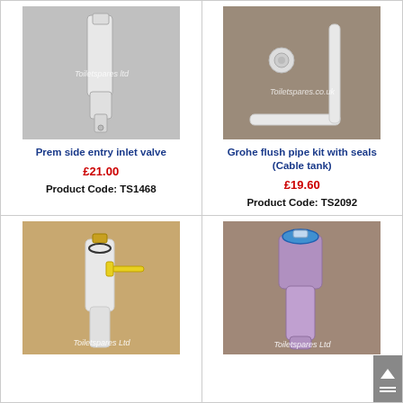[Figure (photo): Prem side entry inlet valve - white plastic valve component on grey background with Toiletspares Ltd watermark]
Prem side entry inlet valve
£21.00
Product Code: TS1468
[Figure (photo): Grohe flush pipe kit with seals (Cable tank) - white L-shaped pipe and small fitting on brown background with Toiletspares.co.uk watermark]
Grohe flush pipe kit with seals (Cable tank)
£19.60
Product Code: TS2092
[Figure (photo): Inlet valve with yellow float arm on light brown background with Toiletspares Ltd watermark]
[Figure (photo): Purple/lilac plastic inlet valve on brown background with Toiletspares Ltd watermark]